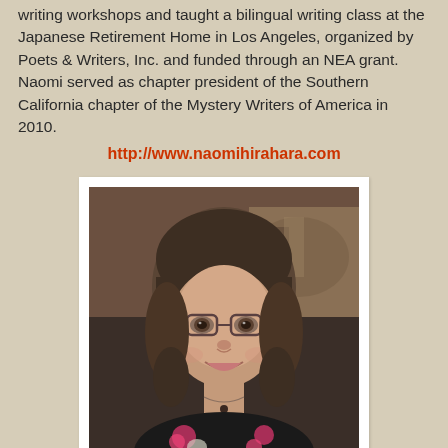writing workshops and taught a bilingual writing class at the Japanese Retirement Home in Los Angeles, organized by Poets & Writers, Inc. and funded through an NEA grant. Naomi served as chapter president of the Southern California chapter of the Mystery Writers of America in 2010.
http://www.naomihirahara.com
[Figure (photo): Portrait photo of Jennifer Palmer, a woman with shoulder-length brown hair and glasses, wearing a black and pink floral top, smiling at the camera.]
Jennifer Palmer Throughout my reading life crime fiction has been a constant interest; I really enjoyed my 15 years as an expatriate in the Far East, the Netherlands & the USA but